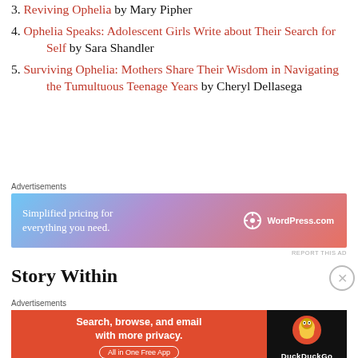3. Reviving Ophelia by Mary Pipher
4. Ophelia Speaks: Adolescent Girls Write about Their Search for Self by Sara Shandler
5. Surviving Ophelia: Mothers Share Their Wisdom in Navigating the Tumultuous Teenage Years by Cheryl Dellasega
[Figure (screenshot): WordPress.com advertisement: 'Simplified pricing for everything you need.']
Story Within
[Figure (screenshot): DuckDuckGo advertisement: 'Search, browse, and email with more privacy. All in One Free App']